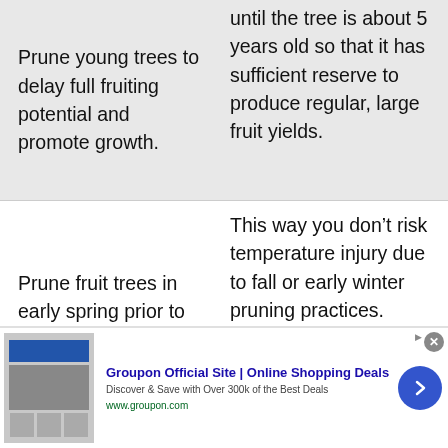Prune young trees to delay full fruiting potential and promote growth.
until the tree is about 5 years old so that it has sufficient reserve to produce regular, large fruit yields.
Prune fruit trees in early spring prior to active growth.
This way you don’t risk temperature injury due to fall or early winter pruning practices.
If your tree needs to
[Figure (other): Groupon advertisement banner with logo, description text 'Discover & Save with Over 300k of the Best Deals', URL www.groupon.com, and a blue circular arrow button.]